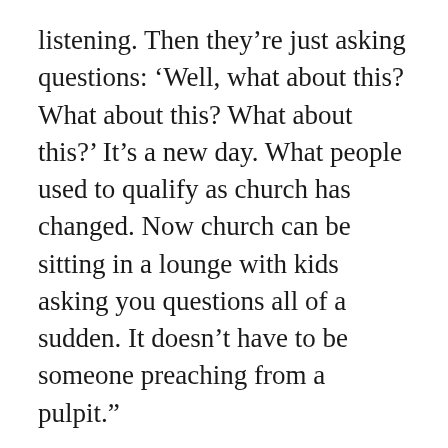listening. Then they’re just asking questions: ‘Well, what about this? What about this? What about this?’ It’s a new day. What people used to qualify as church has changed. Now church can be sitting in a lounge with kids asking you questions all of a sudden. It doesn’t have to be someone preaching from a pulpit.”
“Maybe traditional church isn’t working. This is,” said Sally Stephenson, a parent volunteer. “We like to be on the